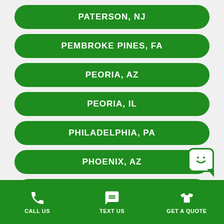PATERSON, NJ
PEMBROKE PINES, FA
PEORIA, AZ
PEORIA, IL
PHILADELPHIA, PA
PHOENIX, AZ
PITTSBURGH, PA
CALL US   TEXT US   GET A QUOTE